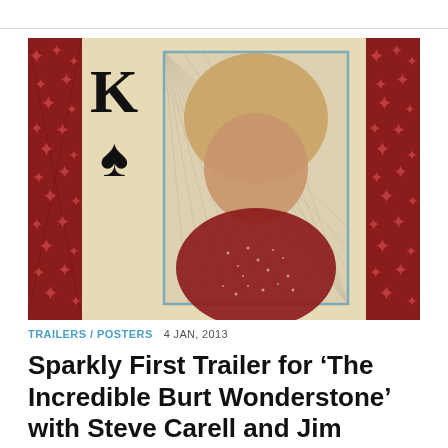[Figure (photo): Movie poster for 'The Incredible Burt Wonderstone' styled as a King of Spades playing card. Features a performer in a red sparkly jacket with blonde flowing hair in front of a card background with red diamond-patterned borders, a K and spade symbol on the left, and a blue-bordered inner rectangle.]
TRAILERS / POSTERS  4 JAN, 2013
Sparkly First Trailer for ‘The Incredible Burt Wonderstone’ with Steve Carell and Jim Carrey